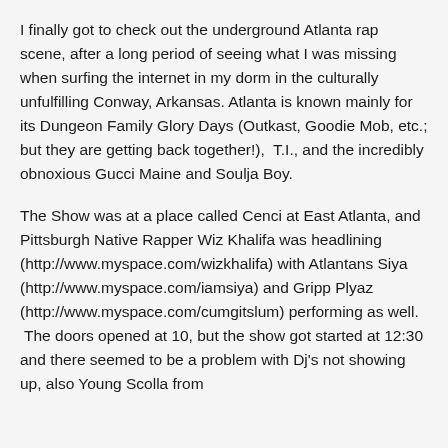I finally got to check out the underground Atlanta rap scene, after a long period of seeing what I was missing when surfing the internet in my dorm in the culturally unfulfilling Conway, Arkansas. Atlanta is known mainly for its Dungeon Family Glory Days (Outkast, Goodie Mob, etc.; but they are getting back together!), T.I., and the incredibly obnoxious Gucci Maine and Soulja Boy.
The Show was at a place called Cenci at East Atlanta, and Pittsburgh Native Rapper Wiz Khalifa was headlining (http://www.myspace.com/wizkhalifa) with Atlantans Siya (http://www.myspace.com/iamsiya) and Gripp Plyaz (http://www.myspace.com/cumgitslum) performing as well. The doors opened at 10, but the show got started at 12:30 and there seemed to be a problem with Dj's not showing up, also Young Scolla from